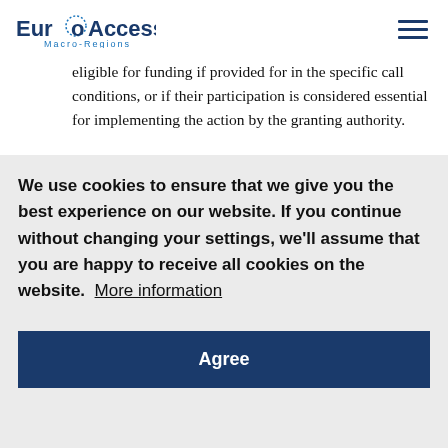EuroAccess Macro-Regions
eligible for funding if provided for in the specific call conditions, or if their participation is considered essential for implementing the action by the granting authority.
We use cookies to ensure that we give you the best experience on our website. If you continue without changing your settings, we'll assume that you are happy to receive all cookies on the website.  More information
Agree
International European research